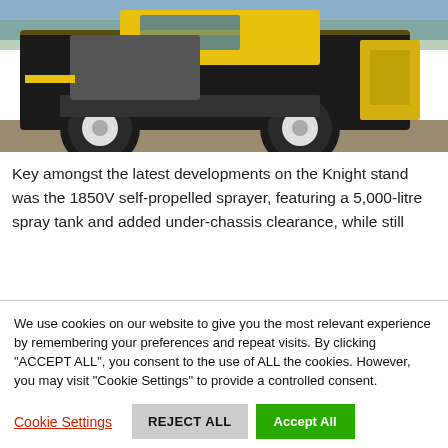[Figure (photo): Agricultural self-propelled sprayer (Knight 1850V) with large black tires and yellow/black chassis, photographed outdoors on gravel ground at an agricultural show.]
Key amongst the latest developments on the Knight stand was the 1850V self-propelled sprayer, featuring a 5,000-litre spray tank and added under-chassis clearance, while still
We use cookies on our website to give you the most relevant experience by remembering your preferences and repeat visits. By clicking "ACCEPT ALL", you consent to the use of ALL the cookies. However, you may visit "Cookie Settings" to provide a controlled consent.
Cookie Settings
REJECT ALL
Accept All